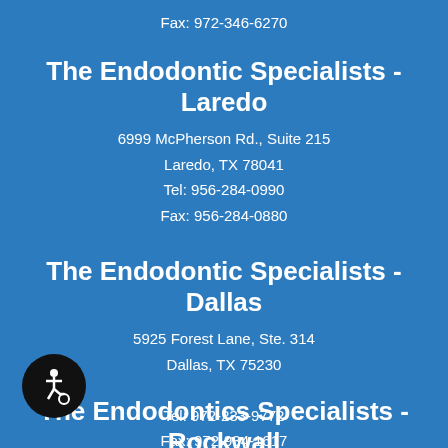Fax: 972-346-6270
The Endodontic Specialists - Laredo
6999 McPherson Rd., Suite 215
Laredo, TX 78041
Tel: 956-284-0990
Fax: 956-284-0880
The Endodontic Specialists - Dallas
5925 Forest Lane, Ste. 314
Dallas, TX 75230
Tel: 972-233-9772
Fax: 972-934-1617
The Endodontics Specialists - Rockwall
1215 Arista Dr., Ste. 101
Rockwall, TX 75032
[Figure (illustration): Accessibility wheelchair icon in a black circle]